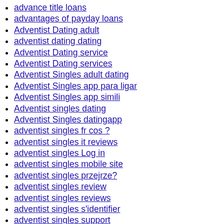advance title loans
advantages of payday loans
Adventist Dating adult
adventist dating dating
Adventist Dating service
Adventist Dating services
Adventist Singles adult dating
Adventist Singles app para ligar
Adventist Singles app simili
Adventist singles dating
Adventist Singles datingapp
adventist singles fr cos ?
adventist singles it reviews
adventist singles Log in
adventist singles mobile site
adventist singles przejrze?
adventist singles review
adventist singles reviews
adventist singles s'identifier
adventist singles support
adventist singles username
adventist singles visitors
adventist-dating-de kosten
adventist-dating-de seiten